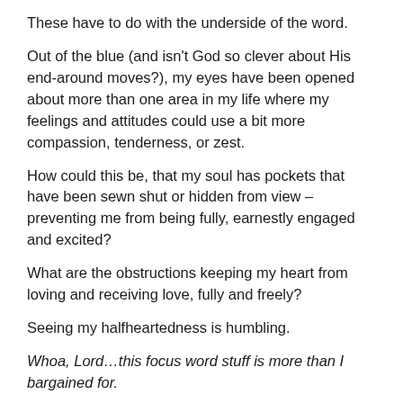These have to do with the underside of the word.
Out of the blue (and isn't God so clever about His end-around moves?), my eyes have been opened about more than one area in my life where my feelings and attitudes could use a bit more compassion, tenderness, or zest.
How could this be, that my soul has pockets that have been sewn shut or hidden from view – preventing me from being fully, earnestly engaged and excited?
What are the obstructions keeping my heart from loving and receiving love, fully and freely?
Seeing my halfheartedness is humbling.
Whoa, Lord…this focus word stuff is more than I bargained for.